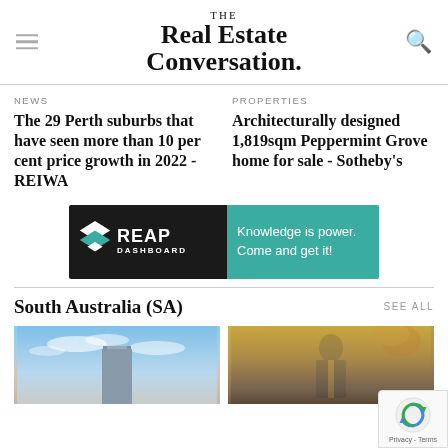THE Real Estate Conversation.
NEWS
The 29 Perth suburbs that have seen more than 10 per cent price growth in 2022 - REIWA
PROPERTIES
Architecturally designed 1,819sqm Peppermint Grove home for sale - Sotheby's
[Figure (other): REAP Dashboard advertisement banner: dark background on left with double-chevron arrow logo and 'REAP DASHBOARD' text, teal background on right with text 'Knowledge is power. Come and get it!']
South Australia (SA)
SEE ALL
[Figure (photo): Photo of a tall building against a blue sky]
[Figure (photo): Photo of a man in a suit standing outdoors with autumn foliage]